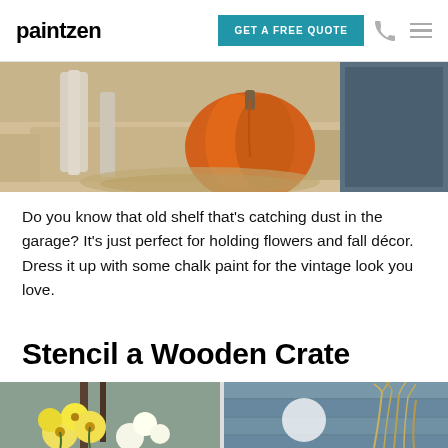paintzen | GET A FREE QUOTE
[Figure (photo): Photo of a pumpkin and wooden objects on a stone porch step]
Do you know that old shelf that's catching dust in the garage? It's just perfect for holding flowers and fall décor. Dress it up with some chalk paint for the vintage look you love.
Stencil a Wooden Crate
[Figure (photo): Two side-by-side photos: left shows yellow and white flowers in a wooden crate, right shows dried grasses against a blue painted wall with a stenciled design]